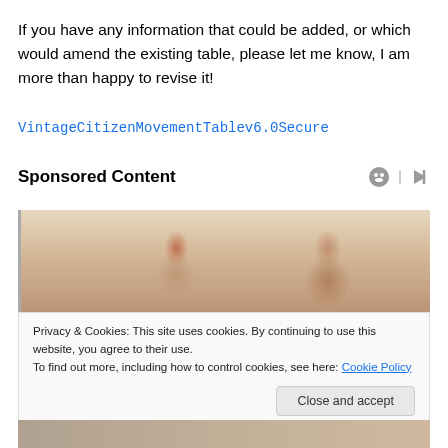If you have any information that could be added, or which would amend the existing table, please let me know, I am more than happy to revise it!
VintageCitizenMovementTablev6.0Secure
Sponsored Content
[Figure (photo): Two people wearing headsets/headphones working at computers in an office setting]
Privacy & Cookies: This site uses cookies. By continuing to use this website, you agree to their use.
To find out more, including how to control cookies, see here: Cookie Policy
Close and accept
[Figure (photo): Partial photo at bottom of page showing another scene]